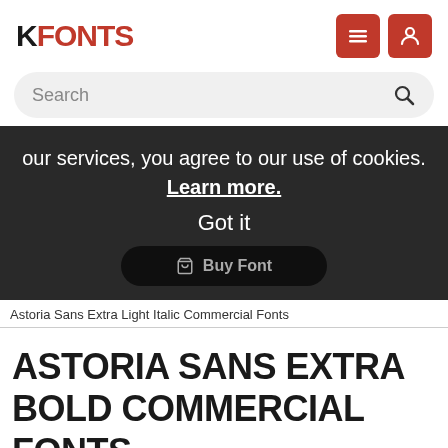FFONTS
[Figure (screenshot): Search bar with rounded rectangle input and magnifying glass icon]
our services, you agree to our use of cookies. Learn more. Got it
Buy Font
Astoria Sans Extra Light Italic Commercial Fonts
ASTORIA SANS EXTRA BOLD COMMERCIAL FONTS